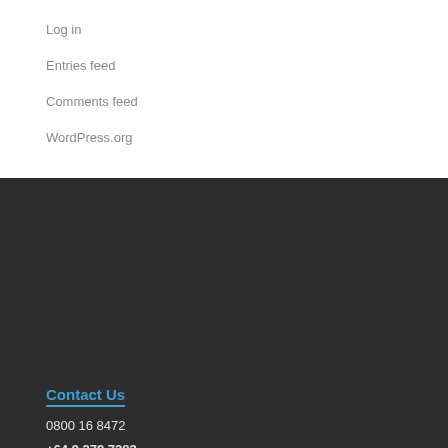Log in
Entries feed
Comments feed
WordPress.org
Contact Us
0800 16 8472
+64 9 279 7283
+64 21 168 7230
Email ASIC
Address
26 Donegal Park Drive
Flat Bush, Manukau City